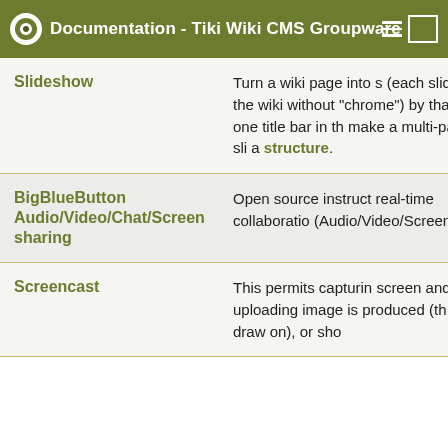Documentation - Tiki Wiki CMS Groupware
| Feature | Description |
| --- | --- |
| Slideshow | Turn a wiki page into s (each slide is the wiki without "chrome") by than one title bar in th make a multi-page sli a structure. |
| BigBlueButton Audio/Video/Chat/Screensharing | Open source instruct real-time collaboratio (Audio/Video/Screen |
| Screencast | This permits capturin screen and uploading image is produced (th then draw on), or sho |